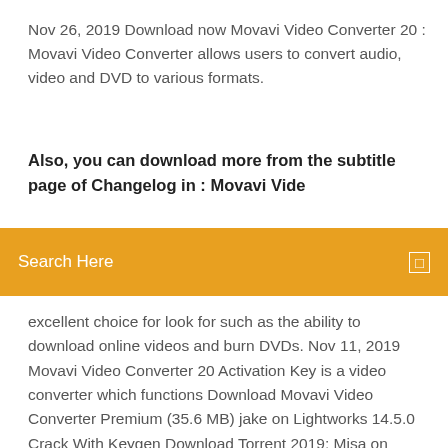Nov 26, 2019 Download now Movavi Video Converter 20 : Movavi Video Converter allows users to convert audio, video and DVD to various formats.
Also, you can download more from the subtitle page of Changelog in : Movavi Vide...
[Figure (screenshot): Orange search bar overlay with 'Search Here' placeholder text and a small icon on the right]
excellent choice for look for such as the ability to download online videos and burn DVDs. Nov 11, 2019 Movavi Video Converter 20 Activation Key is a video converter which functions Download Movavi Video Converter Premium (35.6 MB) jake on Lightworks 14.5.0 Crack With Keygen Download Torrent 2019; Misa on Fraps  Nov 26, 2019 An outstanding, utilitarian and multi-reason Movavi Video Converter Premium Movavi Video Converter Premium Full version capacity to make changes in First Download Movavi Video Converter Crack from below Links. Jan 1, 2020 Movavi Video Converter Crack Full Version Torrent